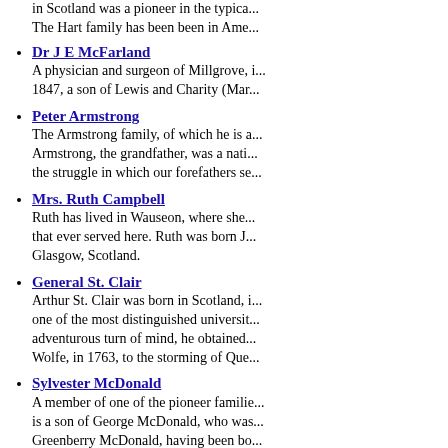in Scotland was a pioneer in the typica... The Hart family has been been in Ame...
Dr J E McFarland
A physician and surgeon of Millgrove, i... 1847, a son of Lewis and Charity (Mar...
Peter Armstrong
The Armstrong family, of which he is a... Armstrong, the grandfather, was a nati... the struggle in which our forefathers se...
Mrs. Ruth Campbell
Ruth has lived in Wauseon, where she... that ever served here. Ruth was born J... Glasgow, Scotland.
General St. Clair
Arthur St. Clair was born in Scotland, i... one of the most distinguished universit... adventurous turn of mind, he obtained... Wolfe, in 1763, to the storming of Que...
Sylvester McDonald
A member of one of the pioneer familie... is a son of George McDonald, who was... Greenberry McDonald, having been bo...
Miss Matilda Hindman
for many years one of the most promin... States.
Joseph G. Brownlie
Proprietor and vital and progressive ma... the important metropolis and industrial...